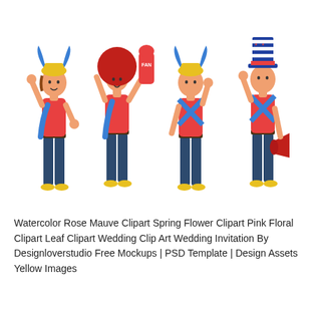[Figure (illustration): Four cartoon sports fan characters in colorful outfits. From left to right: 1) A fan waving, wearing a viking helmet with blue horns and yellow cap, red shirt, blue scarf, dark jeans, yellow shoes. 2) A fan with a large red afro wig, holding a red foam finger with 'FAN' text, red sleeveless shirt, blue scarf, dark jeans, yellow shoes. 3) A fan making a phone gesture, wearing a viking helmet, red shirt, blue X scarf, dark jeans, yellow shoes. 4) A fan saluting and holding a red megaphone, wearing a patriotic Uncle Sam top hat (blue with white stripes), red shirt, blue X scarf, dark jeans, yellow shoes.]
Watercolor Rose Mauve Clipart Spring Flower Clipart Pink Floral Clipart Leaf Clipart Wedding Clip Art Wedding Invitation By Designloverstudio Free Mockups | PSD Template | Design Assets Yellow Images